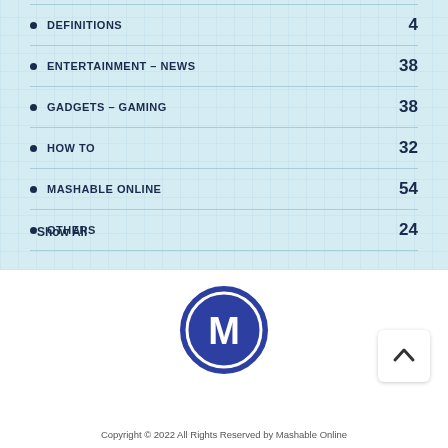DEFINITIONS  4
ENTERTAINMENT – NEWS  38
GADGETS – GAMING  38
HOW TO  32
MASHABLE ONLINE  54
OTHERS  24
Show All
[Figure (logo): Mashable Online circular logo with letter M in blue circle]
Copyright © 2022 All Rights Reserved by Mashable Online